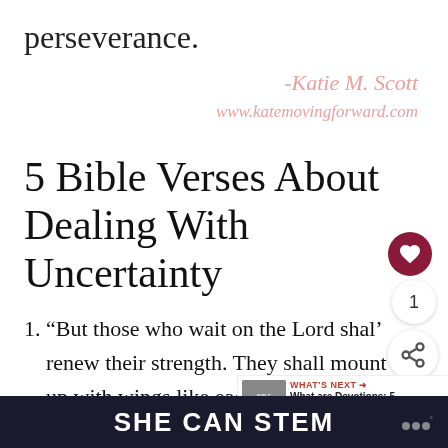perseverance.
-Katie M. Scott
www.katemovingforward.com
5 Bible Verses About Dealing With Uncertainty
1. “But those who wait on the Lord shall renew their strength. They shall mount up with wings like eagles, they and not be weary, they shall walk and
SHE CAN STEM